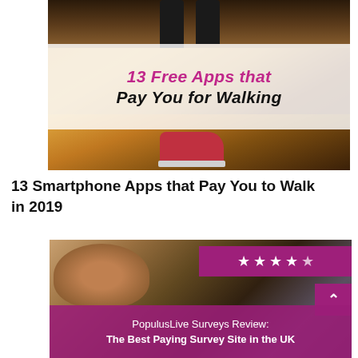[Figure (photo): Photo of person walking with red sneakers, overlaid with text '13 Free Apps that Pay You for Walking' in pink and black italic font on a semi-transparent white banner]
13 Smartphone Apps that Pay You to Walk in 2019
[Figure (photo): Photo of person using laptop with a dog nearby, overlaid with 5-star rating (pink background, top right), a pink up-arrow button, and a pink banner at bottom reading 'PopulusLive Surveys Review: The Best Paying Survey Site in the UK']